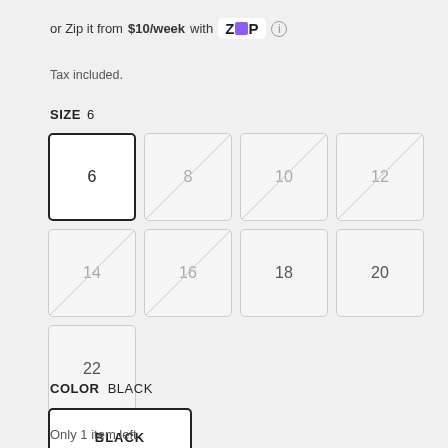or Zip it from $10/week with Zip (info)
Tax included.
SIZE  6
6 (selected), 8 (unavailable), 10 (unavailable), 12 (unavailable), 14 (unavailable), 16 (unavailable), 18, 20, 22
COLOR  BLACK
BLACK
Only 1 item left